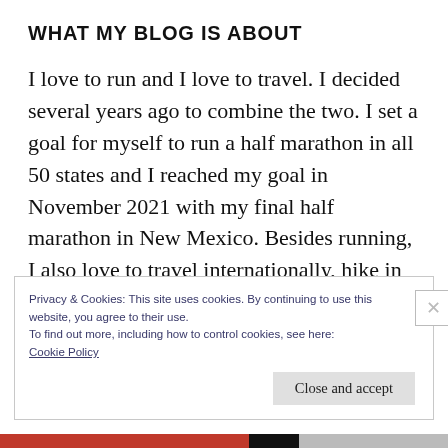WHAT MY BLOG IS ABOUT
I love to run and I love to travel. I decided several years ago to combine the two. I set a goal for myself to run a half marathon in all 50 states and I reached my goal in November 2021 with my final half marathon in New Mexico. Besides running, I also love to travel internationally, hike in the mountains, and live a healthy lifestyle. Follow along on my journey
Privacy & Cookies: This site uses cookies. By continuing to use this website, you agree to their use.
To find out more, including how to control cookies, see here:
Cookie Policy
Close and accept